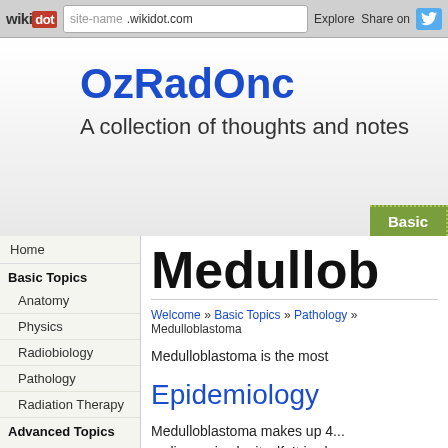wikidot | site-name .wikidot.com | Explore | Share on
OzRadOnc
A collection of thoughts and notes
Home
Basic Topics
Anatomy
Physics
Radiobiology
Pathology
Radiation Therapy
Advanced Topics
Radiation Oncology
Clinical Oncology
Research
Research
Information Technology
IT Topics
Discussion
Forums
Site Tools
Medulloblastoma
Welcome » Basic Topics » Pathology » Medulloblastoma
Medulloblastoma is the most
Epidemiology
Medulloblastoma makes up 4... malignancies by itself. It is sl... the age of 10, and 80% befo... thereafter.